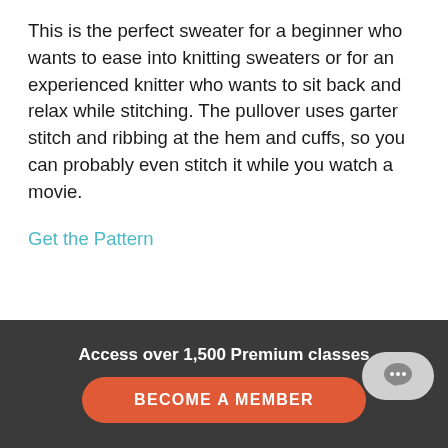This is the perfect sweater for a beginner who wants to ease into knitting sweaters or for an experienced knitter who wants to sit back and relax while stitching. The pullover uses garter stitch and ribbing at the hem and cuffs, so you can probably even stitch it while you watch a movie.
Get the Pattern
Access over 1,500 Premium classes
BECOME A MEMBER